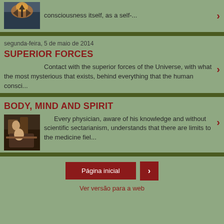[Figure (photo): Thumbnail image showing silhouette against sunset/water background]
consciousness itself, as a self-...
segunda-feira, 5 de maio de 2014
SUPERIOR FORCES
Contact with the superior forces of the Universe, with what the most mysterious that exists, behind everything that the human consci...
BODY, MIND AND SPIRIT
[Figure (photo): Thumbnail image of a person in historical/dramatic setting]
Every physician, aware of his knowledge and without scientific sectarianism, understands that there are limits to the medicine fiel...
Página inicial | Ver versão para a web